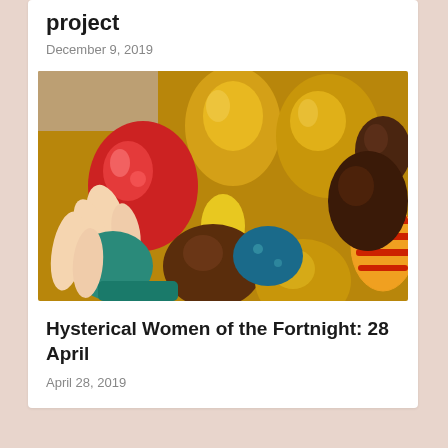project
December 9, 2019
[Figure (photo): Colorful Easter eggs in a bowl — gold, red, chocolate-brown, teal, and striped eggs with a child's hand reaching in]
Hysterical Women of the Fortnight: 28 April
April 28, 2019